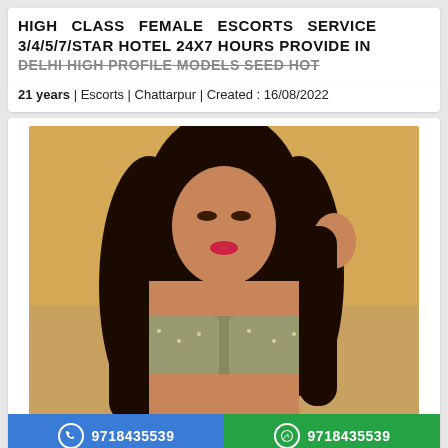HIGH CLASS FEMALE ESCORTS SERVICE 3/4/5/7/STAR HOTEL 24X7 HOURS PROVIDE IN DELHI HIGH PROFILE MODELS SEED HOT
21 years | Escorts | Chattarpur | Created : 16/08/2022
[Figure (photo): Photo of a young woman with long dark hair, looking downward, wearing a sparkly bralette, posed against a warm-toned background]